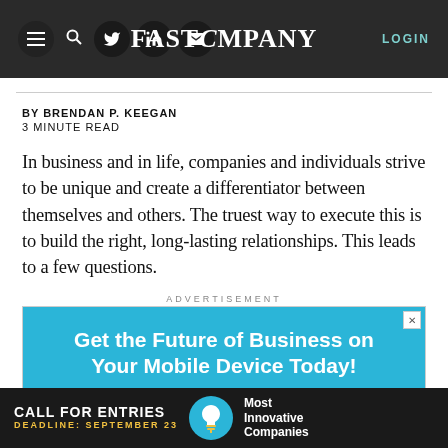FAST COMPANY — LOGIN
BY BRENDAN P. KEEGAN
3 MINUTE READ
In business and in life, companies and individuals strive to be unique and create a differentiator between themselves and others. The truest way to execute this is to build the right, long-lasting relationships. This leads to a few questions.
ADVERTISEMENT
[Figure (other): Advertisement banner: Get the Future of Business on Your Mobile Device Today! Blue background with bold white text.]
[Figure (other): Bottom banner: CALL FOR ENTRIES — DEADLINE: SEPTEMBER 23 — Most Innovative Companies, dark background with yellow deadline text and lightbulb icon.]